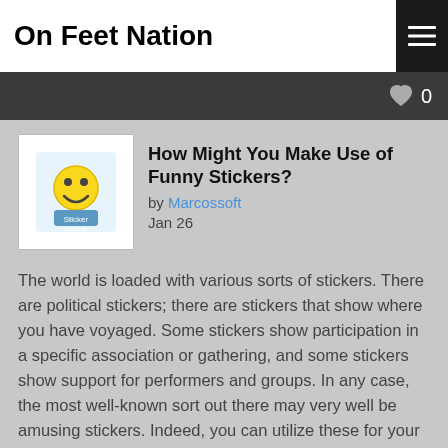On Feet Nation
How Might You Make Use of Funny Stickers?
by Marcossoft
Jan 26
The world is loaded with various sorts of stickers. There are political stickers; there are stickers that show where you have voyaged. Some stickers show participation in a specific association or gathering, and some stickers show support for performers and groups. In any case, the most well-known sort out there may very well be amusing stickers. Indeed, you can utilize these for your potential benefit in various ways. How might you utilize entertaining stickers in your business or association?
Gathering pledges Items